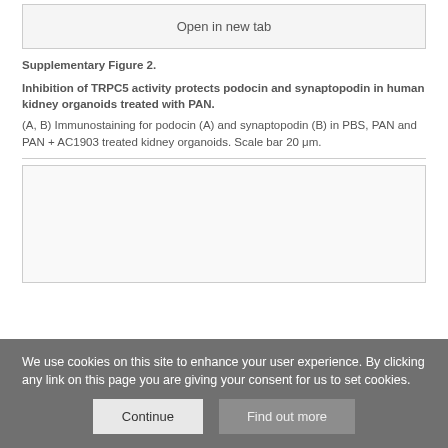Open in new tab
Supplementary Figure 2.
Inhibition of TRPC5 activity protects podocin and synaptopodin in human kidney organoids treated with PAN.
(A, B) Immunostaining for podocin (A) and synaptopodin (B) in PBS, PAN and PAN + AC1903 treated kidney organoids. Scale bar 20 μm.
[Figure (photo): Empty figure placeholder box for next supplementary figure]
We use cookies on this site to enhance your user experience. By clicking any link on this page you are giving your consent for us to set cookies.
Continue
Find out more